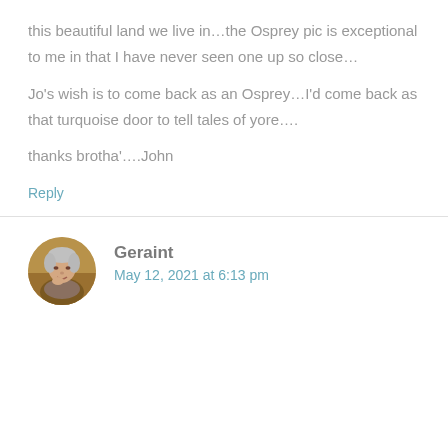this beautiful land we live in…the Osprey pic is exceptional to me in that I have never seen one up so close…

Jo's wish is to come back as an Osprey…I'd come back as that turquoise door to tell tales of yore….

thanks brotha'….John
Reply
[Figure (photo): Circular avatar photo of Geraint, a person with grey/white hair, resting hand on chin, outdoors with warm autumn tones]
Geraint
May 12, 2021 at 6:13 pm